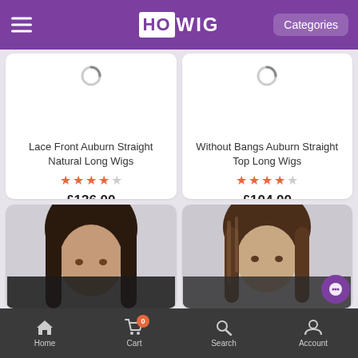HOWIG — Categories
[Figure (screenshot): Product card 1: Lace Front Auburn Straight Natural Long Wigs, 4 stars, £136.00]
[Figure (screenshot): Product card 2: Without Bangs Auburn Straight Top Long Wigs, 4 stars, £104.00]
[Figure (photo): Product card 3: woman with long dark straight hair (bottom half visible)]
[Figure (photo): Product card 4: woman with medium brown straight hair (bottom half visible)]
Home  Cart 0  Search  Account